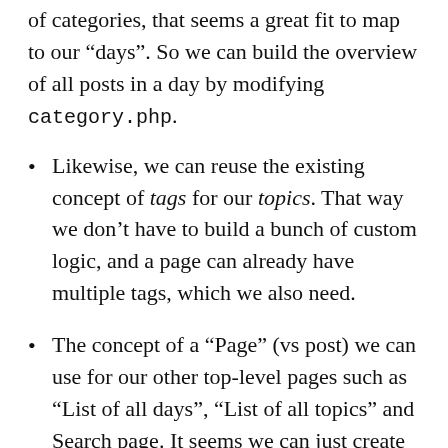of categories, that seems a great fit to map to our “days”. So we can build the overview of all posts in a day by modifying category.php.
Likewise, we can reuse the existing concept of tags for our topics. That way we don’t have to build a bunch of custom logic, and a page can already have multiple tags, which we also need.
The concept of a “Page” (vs post) we can use for our other top-level pages such as “List of all days”, “List of all topics” and Search page. It seems we can just create a Page in the admin interface, and WordPress will look for a page-<slug-of-Page>.php to render any custom template for the page